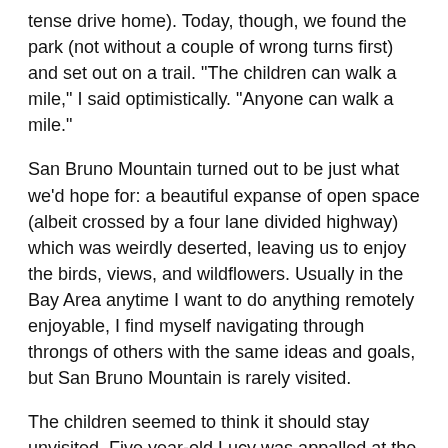tense drive home). Today, though, we found the park (not without a couple of wrong turns first) and set out on a trail. "The children can walk a mile," I said optimistically. "Anyone can walk a mile."
San Bruno Mountain turned out to be just what we'd hope for: a beautiful expanse of open space (albeit crossed by a four lane divided highway) which was weirdly deserted, leaving us to enjoy the birds, views, and wildflowers. Usually in the Bay Area anytime I want to do anything remotely enjoyable, I find myself navigating through throngs of others with the same ideas and goals, but San Bruno Mountain is rarely visited.
The children seemed to think it should stay unvisited. Five year-old Lucy was appalled at the very idea that we'd expect her to walk on a hiking trail. "I just want to sleep in the car," she explained. When that request was denied, she burst out with "I'm tired! I'm cold!" When this was ignored, she shouted, "KILL ME!"
Eight year-old Iris set out in fine style but soon turned to